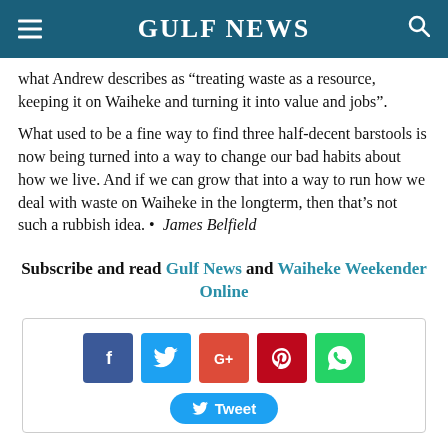Gulf News
what Andrew describes as “treating waste as a resource, keeping it on Waiheke and turning it into value and jobs”.
What used to be a fine way to find three half-decent barstools is now being turned into a way to change our bad habits about how we live. And if we can grow that into a way to run how we deal with waste on Waiheke in the longterm, then that’s not such a rubbish idea. • James Belfield
Subscribe and read Gulf News and Waiheke Weekender Online
[Figure (infographic): Social media sharing buttons: Facebook (blue), Twitter (light blue), Google+ (red-orange), Pinterest (dark red), WhatsApp (green), and a Tweet button at the bottom.]